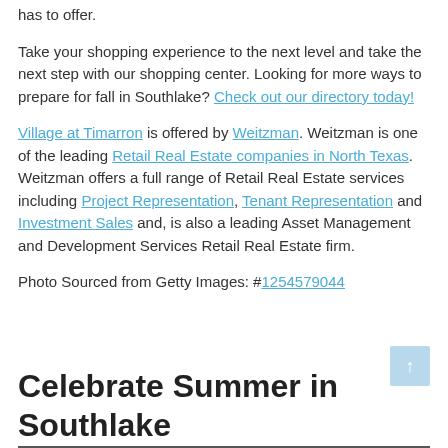has to offer.
Take your shopping experience to the next level and take the next step with our shopping center. Looking for more ways to prepare for fall in Southlake? Check out our directory today!
Village at Timarron is offered by Weitzman. Weitzman is one of the leading Retail Real Estate companies in North Texas. Weitzman offers a full range of Retail Real Estate services including Project Representation, Tenant Representation and Investment Sales and, is also a leading Asset Management and Development Services Retail Real Estate firm.
Photo Sourced from Getty Images: #1254579044
Celebrate Summer in Southlake